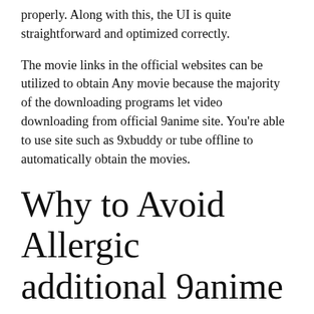properly. Along with this, the UI is quite straightforward and optimized correctly.
The movie links in the official websites can be utilized to obtain Any movie because the majority of the downloading programs let video downloading from official 9anime site. You're able to use site such as 9xbuddy or tube offline to automatically obtain the movies.
Why to Avoid Allergic additional 9anime sites?